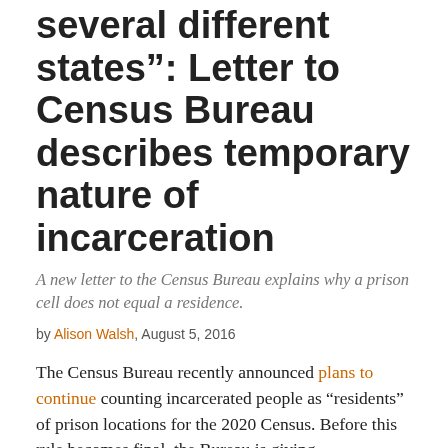several different states": Letter to Census Bureau describes temporary nature of incarceration
A new letter to the Census Bureau explains why a prison cell does not equal a residence.
by Alison Walsh, August 5, 2016
The Census Bureau recently announced plans to continue counting incarcerated people as “residents” of prison locations for the 2020 Census. Before this rule becomes final, the Bureau is giving organizations and individuals a chance to send in comments.
Nick Medvecky submitted his letter today, and his experience is proof that a prison cell is not a residence